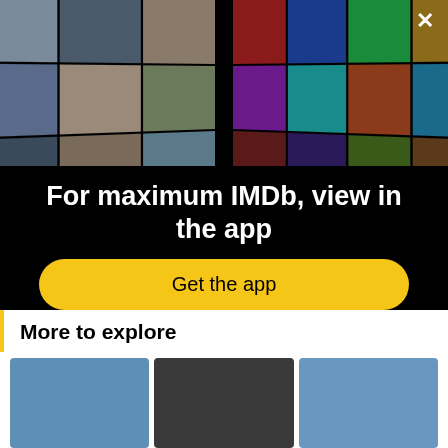[Figure (screenshot): IMDb app promotion banner showing a mosaic of celebrity photos on the left and movie posters on the right, arranged in a fan/perspective layout on a black background. An X close button is in the top right corner.]
For maximum IMDb, view in the app
Get the app
More to explore
[Figure (photo): Three person portrait photos partially visible at bottom of page]